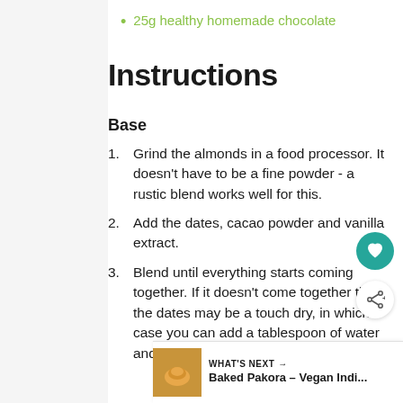25g healthy homemade chocolate
Instructions
Base
Grind the almonds in a food processor. It doesn't have to be a fine powder - a rustic blend works well for this.
Add the dates, cacao powder and vanilla extract.
Blend until everything starts coming together. If it doesn't come together then the dates may be a touch dry, in which case you can add a tablespoon of water and blend. It is important NOT to add too much.